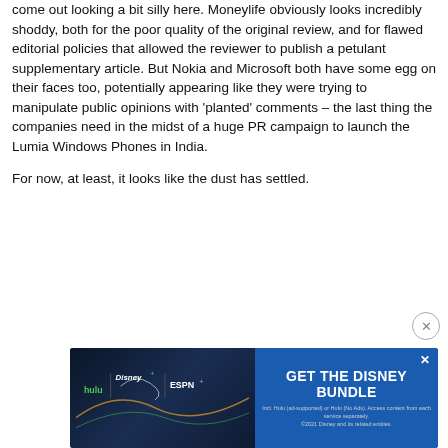come out looking a bit silly here. Moneylife obviously looks incredibly shoddy, both for the poor quality of the original review, and for flawed editorial policies that allowed the reviewer to publish a petulant supplementary article. But Nokia and Microsoft both have some egg on their faces too, potentially appearing like they were trying to manipulate public opinions with 'planted' comments – the last thing the companies need in the midst of a huge PR campaign to launch the Lumia Windows Phones in India.
For now, at least, it looks like the dust has settled.
[Figure (screenshot): Disney Bundle advertisement banner with Hulu, Disney+, and ESPN+ logos on dark blue background. Right side shows blue panel with 'GET THE DISNEY BUNDLE' call to action text. Fine print reads: Incl. Hulu (ad-supported) or Hulu (No Ads). Access content from each service separately. ©2021 Disney and its related entities.]